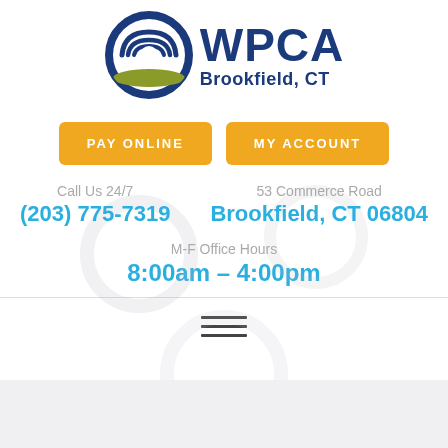[Figure (logo): WPCA Brookfield CT logo with circular wave emblem in blue and olive green, text reading WPCA Brookfield, CT]
PAY ONLINE
MY ACCOUNT
Call Us 24/7
(203) 775-7319
53 Commerce Road
Brookfield, CT 06804
M-F Office Hours
8:00am – 4:00pm
[Figure (infographic): Hamburger menu icon (three horizontal lines)]